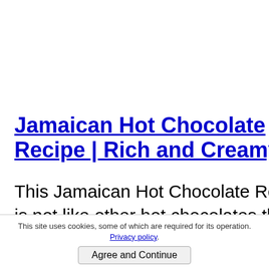Jamaican Hot Chocolate Recipe | Rich and Creamy
This Jamaican Hot Chocolate Recipe is not like other hot chocolates that are commonly available in stores. You have to WORK for this taste. Learn
This site uses cookies, some of which are required for its operation. Privacy policy.
Agree and Continue